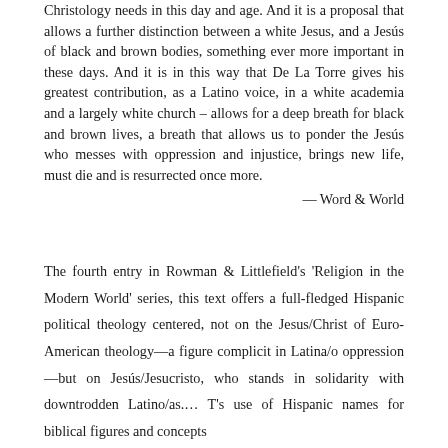Christology needs in this day and age. And it is a proposal that allows a further distinction between a white Jesus, and a Jesús of black and brown bodies, something ever more important in these days. And it is in this way that De La Torre gives his greatest contribution, as a Latino voice, in a white academia and a largely white church – allows for a deep breath for black and brown lives, a breath that allows us to ponder the Jesús who messes with oppression and injustice, brings new life, must die and is resurrected once more.
— Word & World
The fourth entry in Rowman & Littlefield's 'Religion in the Modern World' series, this text offers a full-fledged Hispanic political theology centered, not on the Jesus/Christ of Euro-American theology—a figure complicit in Latina/o oppression—but on Jesús/Jesucristo, who stands in solidarity with downtrodden Latino/as.… T's use of Hispanic names for biblical figures and concepts